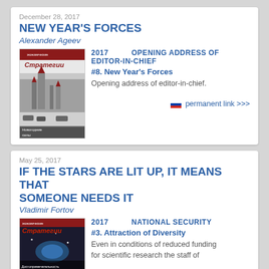December 28, 2017
NEW YEAR'S FORCES
Alexander Ageev
[Figure (illustration): Magazine cover of Ekonomicheskie Strategii (Economic Strategies) showing the Kremlin/Red Square in winter with Russian text 'Новогодние силы']
2017   OPENING ADDRESS OF EDITOR-IN-CHIEF
#8. New Year's Forces
Opening address of editor-in-chief.
permanent link >>>
May 25, 2017
IF THE STARS ARE LIT UP, IT MEANS THAT SOMEONE NEEDS IT
Vladimir Fortov
[Figure (illustration): Magazine cover of Ekonomicheskie Strategii (Economic Strategies) with colorful space/science imagery and Russian text 'Достопримечательность']
2017   NATIONAL SECURITY
#3. Attraction of Diversity
Even in conditions of reduced funding for scientific research the staff of